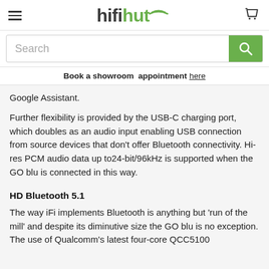hifihut
Search
Book a showroom  appointment here
Google Assistant.
Further flexibility is provided by the USB-C charging port, which doubles as an audio input enabling USB connection from source devices that don't offer Bluetooth connectivity. Hi-res PCM audio data up to24-bit/96kHz is supported when the GO blu is connected in this way.
HD Bluetooth 5.1
The way iFi implements Bluetooth is anything but 'run of the mill' and despite its diminutive size the GO blu is no exception. The use of Qualcomm's latest four-core QCC5100